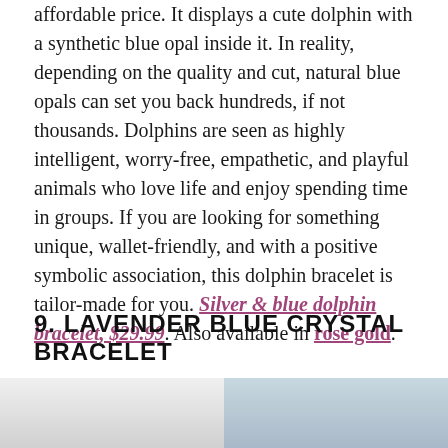affordable price. It displays a cute dolphin with a synthetic blue opal inside it. In reality, depending on the quality and cut, natural blue opals can set you back hundreds, if not thousands. Dolphins are seen as highly intelligent, worry-free, empathetic, and playful animals who love life and enjoy spending time in groups. If you are looking for something unique, wallet-friendly, and with a positive symbolic association, this dolphin bracelet is tailor-made for you. Silver & blue dolphin bracelet, $29.99. Also available in rose gold.
9. LAVENDER BLUE CRYSTAL BRACELET
[Figure (photo): Two photos side by side showing a lavender blue crystal bracelet.]